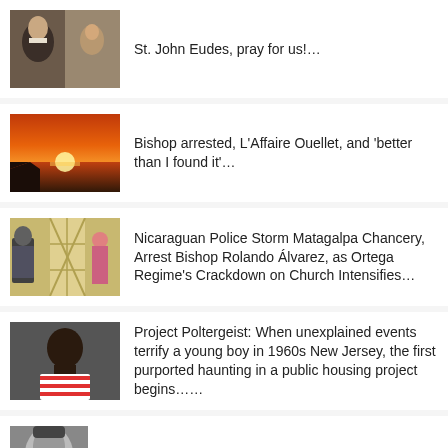St. John Eudes, pray for us!…
Bishop arrested, L'Affaire Ouellet, and 'better than I found it'…
Nicaraguan Police Storm Matagalpa Chancery, Arrest Bishop Rolando Álvarez, as Ortega Regime's Crackdown on Church Intensifies…
Project Poltergeist: When unexplained events terrify a young boy in 1960s New Jersey, the first purported haunting in a public housing project begins……
Admit it: the Rosary IS a threat…